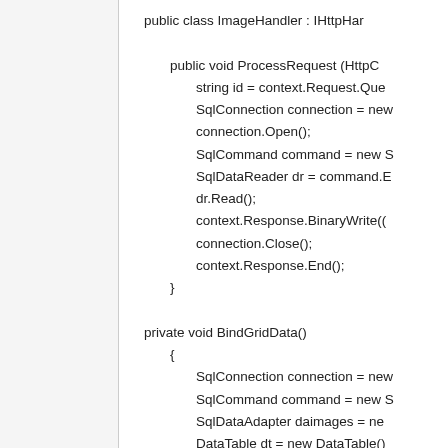public class ImageHandler : IHttpHan
    public void ProcessRequest (HttpC
        string id = context.Request.Que
        SqlConnection connection = new
        connection.Open();
        SqlCommand command = new S
        SqlDataReader dr = command.E
        dr.Read();
        context.Response.BinaryWrite((
        connection.Close();
        context.Response.End();
    }

private void BindGridData()
    {
        SqlConnection connection = new
        SqlCommand command = new S
        SqlDataAdapter daimages = ne
        DataTable dt = new DataTable()
        daimages.Fill(dt);
        GridView1.DataSource = dt;